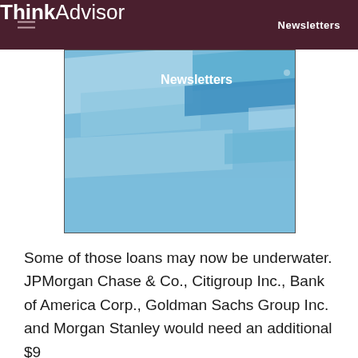ThinkAdvisor Newsletters
[Figure (illustration): Abstract blue geometric shapes/blocks layered on a light blue background, with 'Newsletters' text overlay in white]
Some of those loans may now be underwater. JPMorgan Chase & Co., Citigroup Inc., Bank of America Corp., Goldman Sachs Group Inc. and Morgan Stanley would need an additional $9